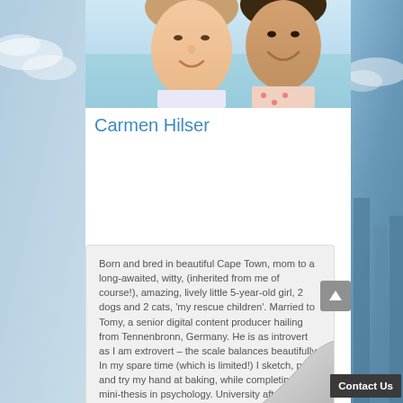[Figure (photo): Photo of two people smiling, appears to be a mother and young child, casual selfie-style photo]
Carmen Hilser
Born and bred in beautiful Cape Town, mom to a long-awaited, witty, (inherited from me of course!), amazing, lively little 5-year-old girl, 2 dogs and 2 cats, 'my rescue children'. Married to Tomy, a senior digital content producer hailing from Tennenbronn, Germany. He is as introvert as I am extrovert – the scale balances beautifully. In my spare time (which is limited!) I sketch, paint, and try my hand at baking, while completing a mini-thesis in psychology. University after high school was not an option. I am also a seasoned HR professional, with a passion for people